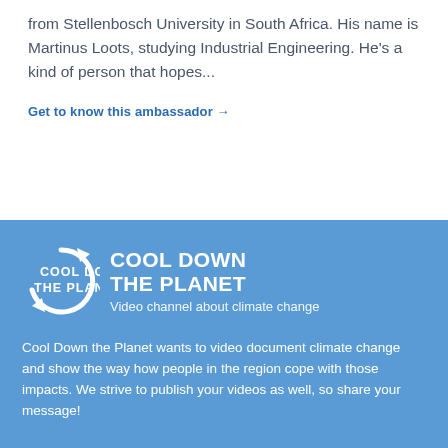from Stellenbosch University in South Africa. His name is Martinus Loots, studying Industrial Engineering. He's a kind of person that hopes...
Get to know this ambassador →
[Figure (logo): Cool Down the Planet logo — circular arrows around text reading COOL DOWN THE PLANET, with tagline 'Video channel about climate change']
Cool Down the Planet wants to video document climate change and show the way how people in the region cope with those impacts. We strive to publish your videos as well, so share your message!